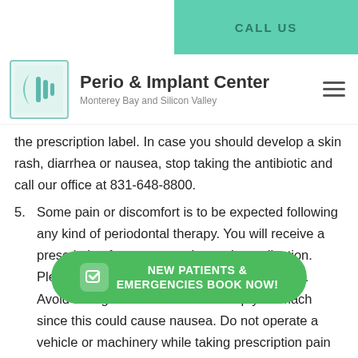CALL US
[Figure (logo): Perio & Implant Center logo with teal icon and text 'Perio & Implant Center, Monterey Bay and Silicon Valley']
the prescription label. In case you should develop a skin rash, diarrhea or nausea, stop taking the antibiotic and call our office at 831-648-8800.
5. Some pain or discomfort is to be expected following any kind of periodontal therapy. You will receive a prescription for an appropriate pain medication. Please follow the directions of the prescription. Avoid taking medications on an empty stomach since this could cause nausea. Do not operate a vehicle or machinery while taking prescription pain medications. If you have over-the-counter (OTC) pain medications, take two Tylenol Adult tablets or 2 Advil...
NEW PATIENTS & EMERGENCIES BOOK NOW!